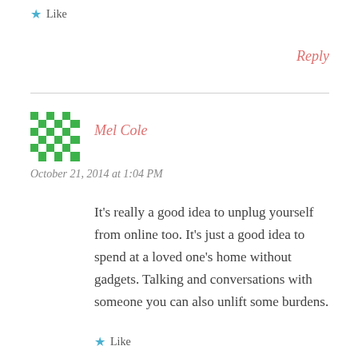★ Like
Reply
[Figure (illustration): Green and white checkerboard pattern avatar for user Mel Cole]
Mel Cole
October 21, 2014 at 1:04 PM
It's really a good idea to unplug yourself from online too. It's just a good idea to spend at a loved one's home without gadgets. Talking and conversations with someone you can also unlift some burdens.
★ Like